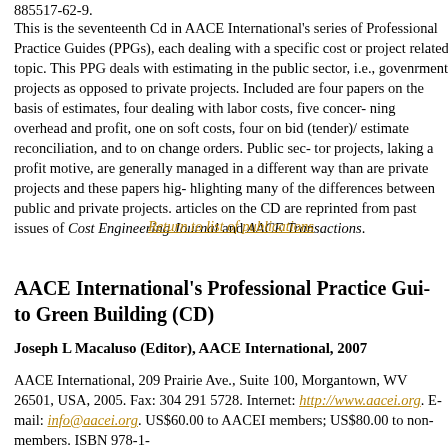885517-62-9.
This is the seventeenth Cd in AACE International's series of Professional Practice Guides (PPGs), each dealing with a specific cost or project related topic. This PPG deals with estimating in the public sector, i.e., govenrment projects as opposed to private projects. Included are four papers on the basis of estimates, four dealing with labor costs, five concerning overhead and profit, one on soft costs, four on bid (tender)/estimate reconciliation, and to on change orders. Public sector projects, laking a profit motive, are generally managed in a different way than are private projects and these papers highlight many of the differences between public and private projects. The articles on the CD are reprinted from past issues of Cost Engineering Journal and AACE Transactions.
Return to list of publications
AACE International's Professional Practice Guide to Green Building (CD)
Joseph L Macaluso (Editor), AACE International, 2007
AACE International, 209 Prairie Ave., Suite 100, Morgantown, WV 26501, USA, 2005. Fax: 304 291 5728. Internet: http://www.aacei.org. E-mail: info@aacei.org. US$60.00 to AACEI members; US$80.00 to non-members. ISBN 978-1-885517-63-7.